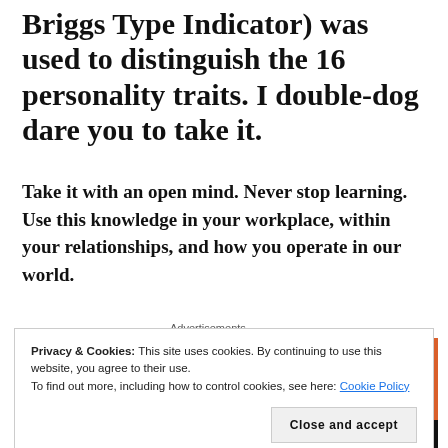Briggs Type Indicator) was used to distinguish the 16 personality traits. I double-dog dare you to take it.
Take it with an open mind. Never stop learning. Use this knowledge in your workplace, within your relationships, and how you operate in our world.
[Figure (screenshot): Orange advertisement banner reading 'Search, browse, and email with more privacy. All in One Free App' with white text on orange background, labeled 'Advertisements' above.]
Privacy & Cookies: This site uses cookies. By continuing to use this website, you agree to their use.
To find out more, including how to control cookies, see here: Cookie Policy
Close and accept
[Figure (screenshot): Dark bar at bottom showing DuckDuckGo logo/text in white on black background.]